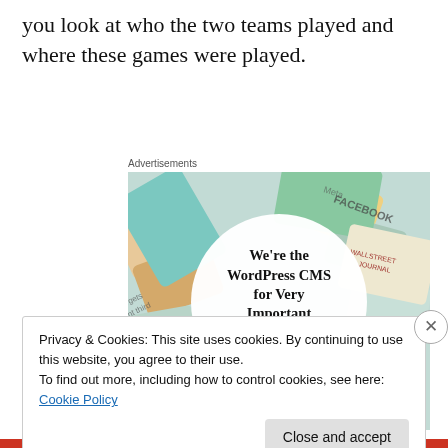you look at who the two teams played and where these games were played.
Advertisements
[Figure (illustration): WordPress VIP advertisement showing various brand cards (Meta, Facebook, Capgemini, Salesforce, etc.) arranged around a white circle with text 'We're the WordPress CMS for Very Important Content' with WordPress VIP logo and 'Learn more →' button.]
Privacy & Cookies: This site uses cookies. By continuing to use this website, you agree to their use.
To find out more, including how to control cookies, see here: Cookie Policy
Close and accept